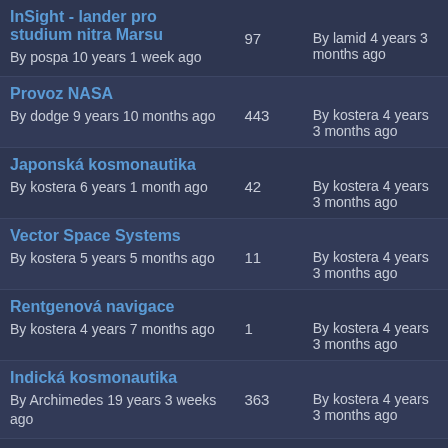| Topic | Posts | Last Post |
| --- | --- | --- |
| InSight - lander pro studium nitra Marsu
By pospa 10 years 1 week ago | 97 | By lamid 4 years 3 months ago |
| Provoz NASA
By dodge 9 years 10 months ago | 443 | By kostera 4 years 3 months ago |
| Japonská kosmonautika
By kostera 6 years 1 month ago | 42 | By kostera 4 years 3 months ago |
| Vector Space Systems
By kostera 5 years 5 months ago | 11 | By kostera 4 years 3 months ago |
| Rentgenová navigace
By kostera 4 years 7 months ago | 1 | By kostera 4 years 3 months ago |
| Indická kosmonautika
By Archimedes 19 years 3 weeks ago | 363 | By kostera 4 years 3 months ago |
| Novináři |  |  |